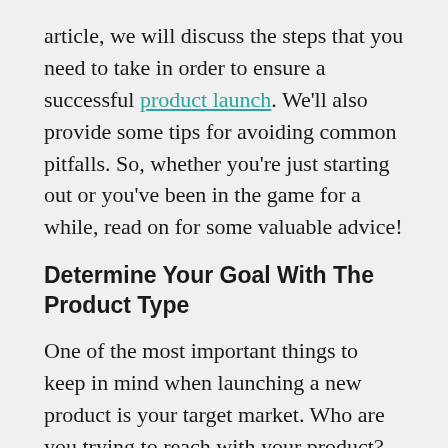article, we will discuss the steps that you need to take in order to ensure a successful product launch. We'll also provide some tips for avoiding common pitfalls. So, whether you're just starting out or you've been in the game for a while, read on for some valuable advice!
Determine Your Goal With The Product Type
One of the most important things to keep in mind when launching a new product is your target market. Who are you trying to reach with your product? What needs does it address? Once you've identified your target market, you can start to tailor your marketing strategy accordingly.